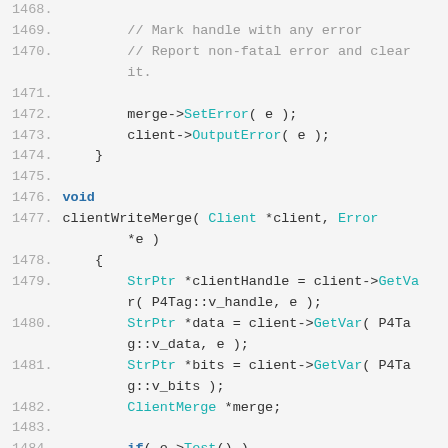[Figure (screenshot): Source code listing lines 1468-1487 in a monospace font with syntax highlighting. Line numbers in gray on the left, code in teal/blue/gray on the right. Shows C++ code for clientWriteMerge function.]